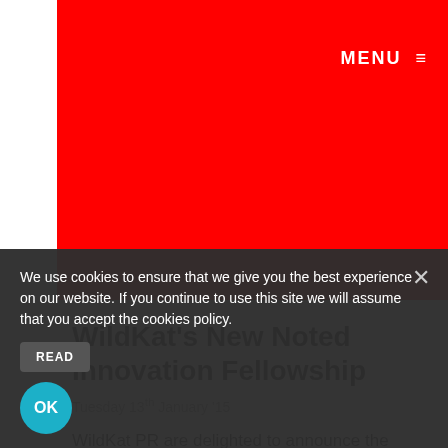[Figure (illustration): Red banner/header area of website]
MENU ≡
WildKat's New Noted Innovation Fellowship
Tuesday 13th January '15
WildKat PR are delighted to announce the launch of an exciting and innovative new scheme heralded by our founder Kathleen Alder. The Noted Innovation Fellowship focuses on musicians aged 22-35 year olds with
We use cookies to ensure that we give you the best experience on our website. If you continue to use this site we will assume that you accept the cookies policy.